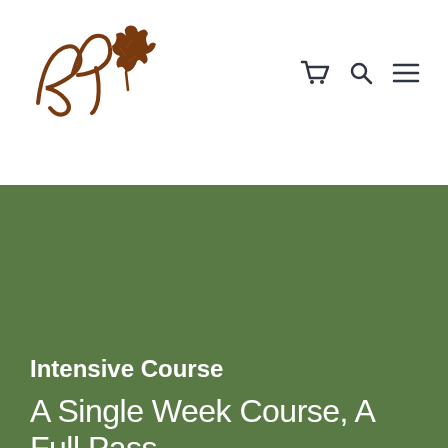[Figure (logo): Stylized cursive 'EP' initials with an oak leaf icon, in brown/rust color, website logo]
[Figure (other): Navigation icons: shopping cart, search magnifier, and hamburger menu in dark navy color]
Intensive Course
A Single Week Course, A Full Pass